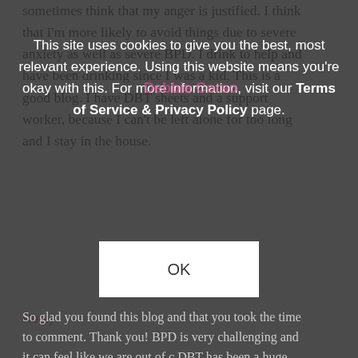sometimes think that my anger is justified. I think that I'm more likely to avoid things due to severe anxiety as well as severe BPD. I drink to help and have been drinking since I was a kid. This is a good blog. I have DBT sheets and a support worker, because I can't be left alone for too long and I stay in the house.
Reply
This site uses cookies to give you the best, most relevant experience. Using this website means you're okay with this. For more information, visit our Terms of Service & Privacy Policy page.
OK
Debbie Corso
So glad you found this blog and that you took the time to comment. Thank you! BPD is very challenging and it can feel like we are out of control. DBT has been a huge help in empowering me to realize what control I do have and allowing me to